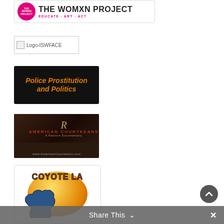[Figure (logo): The Womxn Project logo banner: circular pink logo on left, bold text 'THE WOMXN PROJECT' and 'EDUCATE · ART · ACT' in pink]
[Figure (logo): Logo-ISWFACE: broken image placeholder with text 'Logo-ISWFACE']
[Figure (illustration): Black banner with bold orange italic text 'Police Prostitution and Politics']
[Figure (photo): American Courtesans documentary banner: dark background with scripted logo, red text, and url www.AmericanCourtesans.com]
[Figure (logo): Coyote LA logo: gold/orange circular badge with coyote silhouette and bold orange text 'COYOTE LA']
Share This